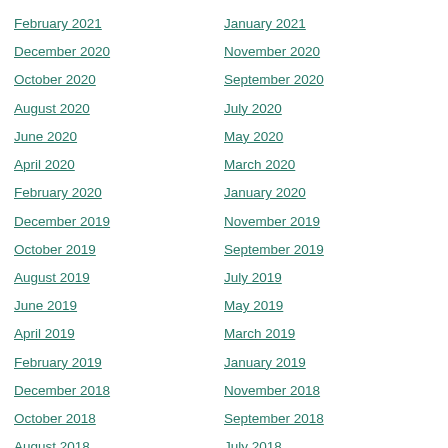February 2021
January 2021
December 2020
November 2020
October 2020
September 2020
August 2020
July 2020
June 2020
May 2020
April 2020
March 2020
February 2020
January 2020
December 2019
November 2019
October 2019
September 2019
August 2019
July 2019
June 2019
May 2019
April 2019
March 2019
February 2019
January 2019
December 2018
November 2018
October 2018
September 2018
August 2018
July 2018